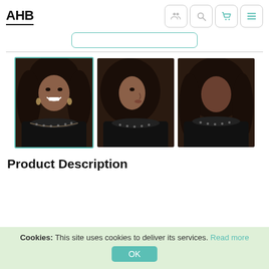AHB
[Figure (screenshot): Partial tab/button strip with teal-bordered button]
[Figure (photo): Three product images of a woman wearing a curly dark wig shown from front, side, and back views. The first image has a teal selection border.]
Product Description
Cookies: This site uses cookies to deliver its services. Read more
OK